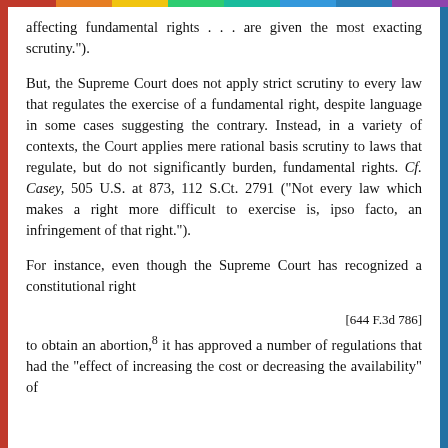affecting fundamental rights . . . are given the most exacting scrutiny.").
But, the Supreme Court does not apply strict scrutiny to every law that regulates the exercise of a fundamental right, despite language in some cases suggesting the contrary. Instead, in a variety of contexts, the Court applies mere rational basis scrutiny to laws that regulate, but do not significantly burden, fundamental rights. Cf. Casey, 505 U.S. at 873, 112 S.Ct. 2791 ("Not every law which makes a right more difficult to exercise is, ipso facto, an infringement of that right.").
For instance, even though the Supreme Court has recognized a constitutional right
[644 F.3d 786]
to obtain an abortion, 8 it has approved a number of regulations that had the "effect of increasing the cost or decreasing the availability" of